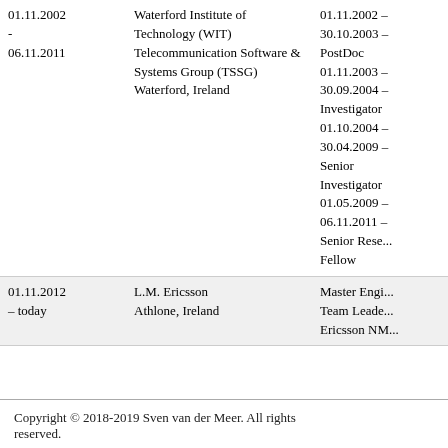| Date | Institution | Role |
| --- | --- | --- |
| 01.11.2002 - 06.11.2011 | Waterford Institute of Technology (WIT) Telecommunication Software & Systems Group (TSSG) Waterford, Ireland | 01.11.2002 - 30.10.2003 - PostDoc 01.11.2003 - 30.09.2004 - Investigator 01.10.2004 - 30.04.2009 - Senior Investigator 01.05.2009 - 06.11.2011 - Senior Research Fellow |
| 01.11.2012 - today | L.M. Ericsson Athlone, Ireland | Master Engineer Team Leader Ericsson NM |
Copyright © 2018-2019 Sven van der Meer. All rights reserved.